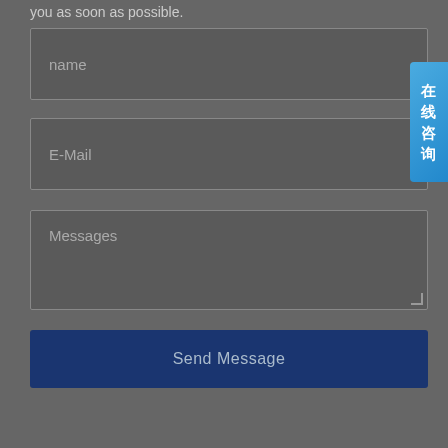you as soon as possible.
name
E-Mail
Messages
Send Message
在线咨询